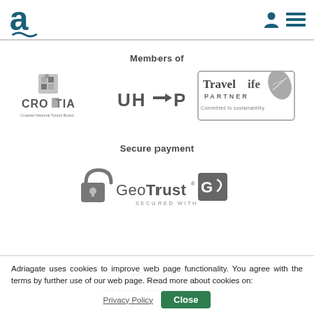[Figure (logo): Adriagate logo — stylized letter 'a' with wave underline in dark teal]
[Figure (logo): User icon and hamburger menu icon in dark teal]
Members of
[Figure (logo): Croatia National Tourist Board logo in grayscale]
[Figure (logo): UHPA logo in grayscale]
[Figure (logo): Travelife Partner - Committed to sustainability logo in grayscale]
Secure payment
[Figure (logo): GeoTrust Secured With logo with padlock icon in grayscale]
Adriagate uses cookies to improve web page functionality. You agree with the terms by further use of our web page. Read more about cookies on:
Privacy Policy
Close
Europska unija
Krajnji primatelj financijskog ins... financiranog iz